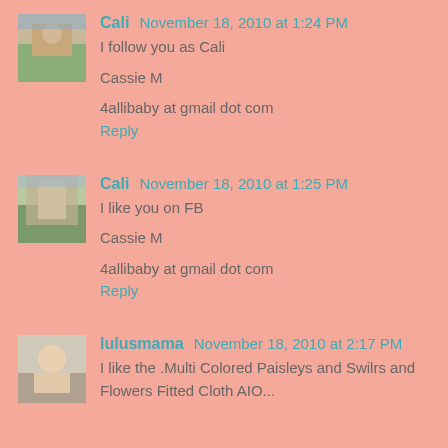Cali November 18, 2010 at 1:24 PM
I follow you as Cali

Cassie M

4allibaby at gmail dot com
Reply
Cali November 18, 2010 at 1:25 PM
I like you on FB

Cassie M

4allibaby at gmail dot com
Reply
lulusmama November 18, 2010 at 2:17 PM
I like the .Multi Colored Paisleys and Swilrs and Flowers Fitted Cloth AIO...